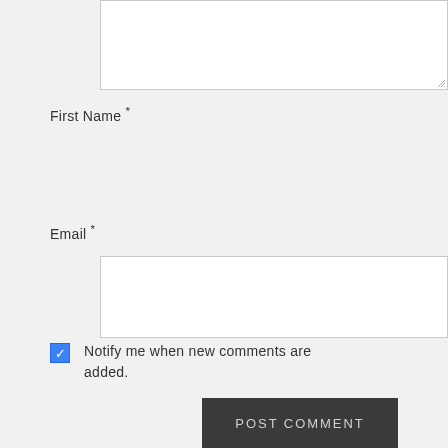[Figure (screenshot): Textarea input box (partially visible at top of page)]
First Name *
[Figure (screenshot): First Name text input field]
Email *
[Figure (screenshot): Email text input field]
Notify me when new comments are added.
POST COMMENT